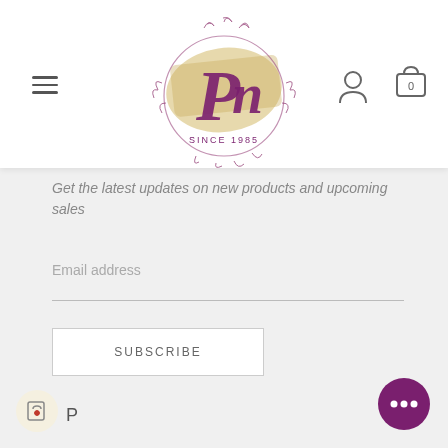[Figure (logo): PN monogram logo with floral wreath, gold brushstroke background, cursive purple letters, 'SINCE 1985' text]
Get the latest updates on new products and upcoming sales
Email address
SUBSCRIBE
P